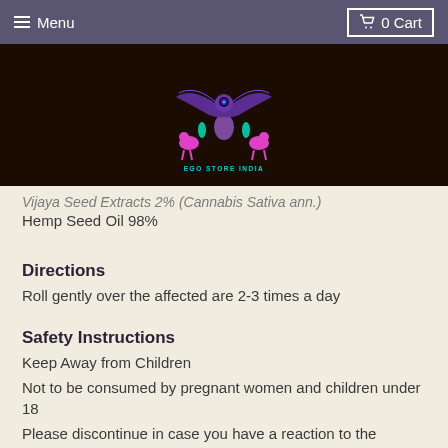≡ Menu   0 Cart
[Figure (logo): EGO Store India logo with a purple bird/eagle, pink lions, teal figures, on dark background with cyan text EGO STORE INDIA]
Vijaya Seed Extracts 2% (Cannabis Sativa ann.)
Hemp Seed Oil 98%
Directions
Roll gently over the affected are 2-3 times a day
Safety Instructions
Keep Away from Children
Not to be consumed by pregnant women and children under 18
Please discontinue in case you have a reaction to the medicine
Storage information
Store in a cool and dry place, away from sunlight